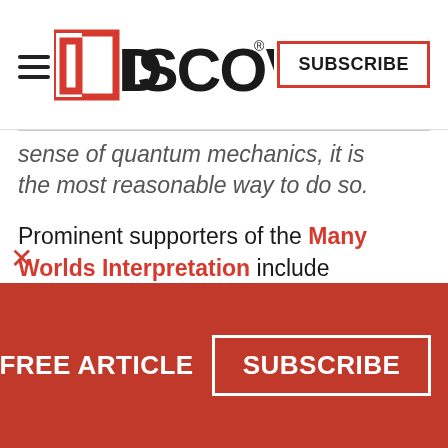DISCOVER — SUBSCRIBE
sense of quantum mechanics, it is the most reasonable way to do so.
Prominent supporters of the Many Worlds Interpretation include physicists David Deutsch at Oxford University and Max Tegmark at MIT. If they are right, our intuitive sense of how reality works is profoundly wrong. Then again, some other
1 FREE ARTICLE   SUBSCRIBE